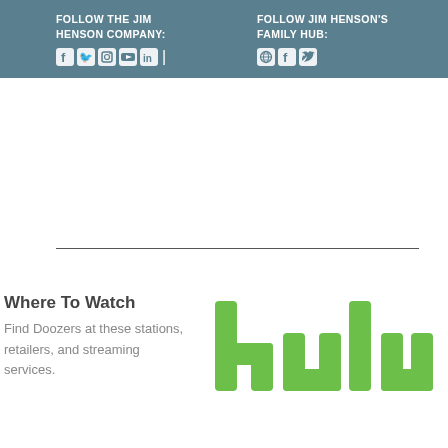FOLLOW THE JIM HENSON COMPANY: [social icons: f, twitter, instagram, youtube, linkedin] | FOLLOW JIM HENSON'S FAMILY HUB: [globe, f, twitter]
Where To Watch
Find Doozers at these stations, retailers, and streaming services.
[Figure (logo): Hulu logo in green text]